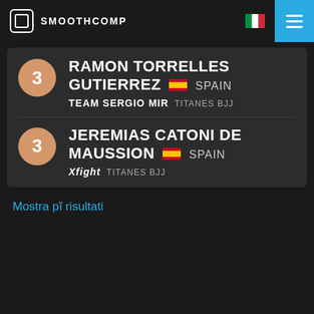SMOOTHCOMP
3 RAMON TORRELLES GUTIERREZ SPAIN
TEAM SERGIO MIR  TITANES BJJ
3 JEREMIAS CATONI DE MAUSSION SPAIN
Xfight  TITANES BJJ
Mostra pĩ risultati